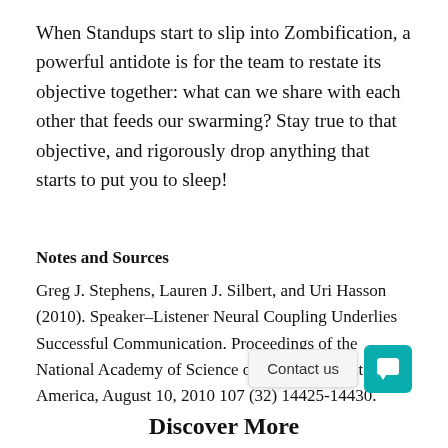When Standups start to slip into Zombification, a powerful antidote is for the team to restate its objective together: what can we share with each other that feeds our swarming? Stay true to that objective, and rigorously drop anything that starts to put you to sleep!
Notes and Sources
Greg J. Stephens, Lauren J. Silbert, and Uri Hasson (2010). Speaker–Listener Neural Coupling Underlies Successful Communication. Proceedings of the National Academy of Science of the United States of America, August 10, 2010 107 (32) 14425-14430.
Discover More